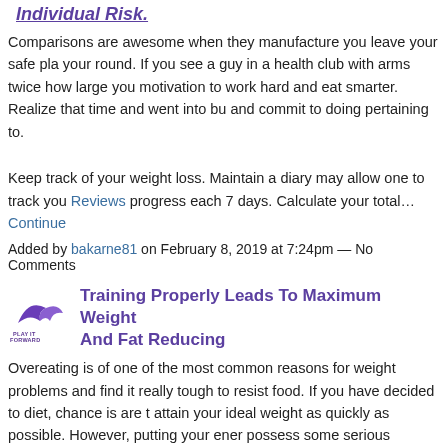Individual Risk.
Comparisons are awesome when they manufacture you leave your safe pl... your round. If you see a guy in a health club with arms twice how large you... motivation to work hard and eat smarter. Realize that time and went into bu... and commit to doing pertaining to.
Keep track of your weight loss. Maintain a diary may allow one to track you... Reviews progress each 7 days. Calculate your total… Continue
Added by bakarne81 on February 8, 2019 at 7:24pm — No Comments
Training Properly Leads To Maximum Weight And Fat Reducing
Overeating is of one of the most common reasons for weight problems and... find it really tough to resist food. If you have decided to diet, chance is are t... attain your ideal weight as quickly as possible. However, putting your energ... possess some serious disadvantages.
Doing a dash of research online can go a considerable ways to determining... is better lifestyle and meets vehicle for healthy… Continue
Added by bailee71 on February 8, 2019 at 7:01pm — No Comments